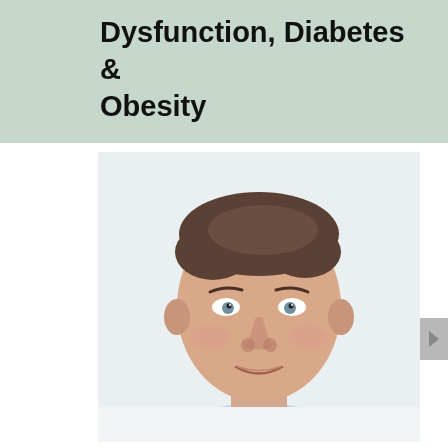Dysfunction, Diabetes & Obesity
[Figure (photo): Professional headshot of a middle-aged man with brown hair, light blue shirt, smiling slightly against a white background]